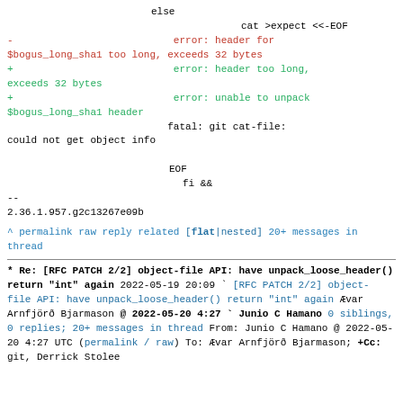Code diff snippet showing git patch with else/fi block, error messages for header too long and unable to unpack, fatal git cat-file error, could not get object info, EOF, fi &&, --, 2.36.1.957.g2c13267e09b
^ permalink raw reply related  [flat|nested] 20+ messages in thread
* Re: [RFC PATCH 2/2] object-file API: have unpack_loose_header() return "int" again
2022-05-19 20:09   ` [RFC PATCH 2/2] object-file API: have unpack_loose_header() return "int" again
Ævar Arnfjörð Bjarmason
@ 2022-05-20  4:27   ` Junio C Hamano
  0 siblings, 0 replies; 20+ messages in thread
From: Junio C Hamano @ 2022-05-20  4:27 UTC (permalink / raw)
To: Ævar Arnfjörð Bjarmason; +Cc: git, Derrick Stolee